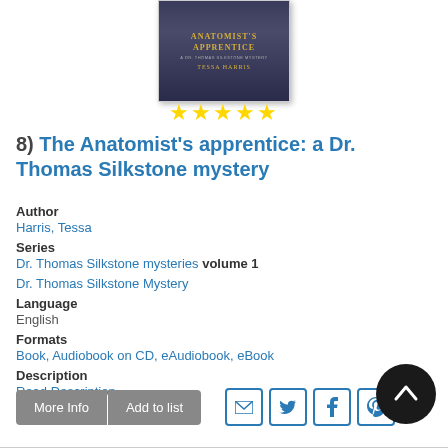[Figure (photo): Book cover of The Anatomist's Apprentice by Tessa Harris, dark blue/purple background with golden title text]
[Figure (other): Five gold star rating]
8)  The Anatomist's apprentice: a Dr. Thomas Silkstone mystery
Author
Harris, Tessa
Series
Dr. Thomas Silkstone mysteries volume 1
Dr. Thomas Silkstone Mystery
Language
English
Formats
Book, Audiobook on CD, eAudiobook, eBook
Description
Read Description